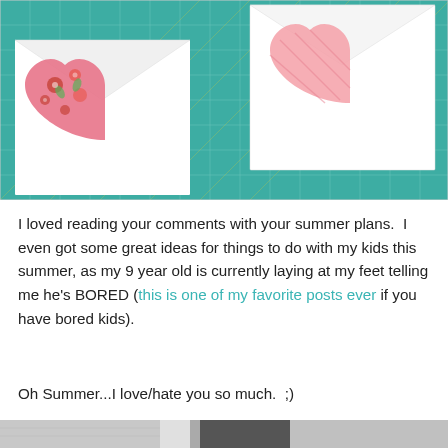[Figure (photo): Quilting/sewing photo showing fabric heart quilt blocks (floral pink/red and solid pink) placed on envelopes on a teal cutting mat with grid lines]
I loved reading your comments with your summer plans.  I even got some great ideas for things to do with my kids this summer, as my 9 year old is currently laying at my feet telling me he's BORED (this is one of my favorite posts ever if you have bored kids).
Oh Summer...I love/hate you so much.  ;)
[Figure (photo): Partial black and white photo visible at bottom of page]